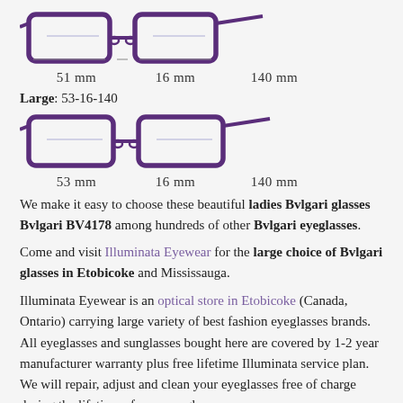[Figure (illustration): Diagram of eyeglasses showing three measurements: 51mm lens width, 16mm bridge, 140mm temple length]
51 mm   16 mm   140 mm
Large: 53-16-140
[Figure (illustration): Diagram of larger eyeglasses showing three measurements: 53mm lens width, 16mm bridge, 140mm temple length]
53 mm   16 mm   140 mm
We make it easy to choose these beautiful ladies Bvlgari glasses Bvlgari BV4178 among hundreds of other Bvlgari eyeglasses.
Come and visit Illuminata Eyewear for the large choice of Bvlgari glasses in Etobicoke and Mississauga.
Illuminata Eyewear is an optical store in Etobicoke (Canada, Ontario) carrying large variety of best fashion eyeglasses brands. All eyeglasses and sunglasses bought here are covered by 1-2 year manufacturer warranty plus free lifetime Illuminata service plan. We will repair, adjust and clean your eyeglasses free of charge during the lifetime of your eyeglasses.
Our licensed optician takes a great pride in knowing all leading